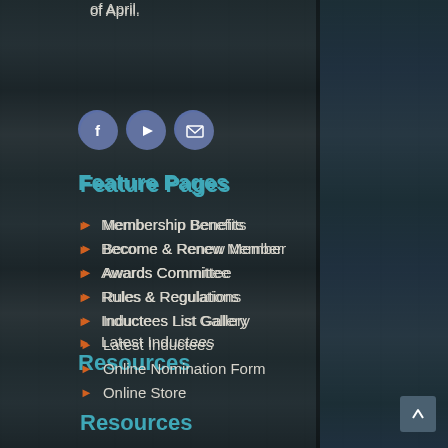of April.
[Figure (illustration): Three circular social media icon buttons: Facebook (f), YouTube (play triangle), and Email (envelope), rendered in blue-grey on a dark wood-textured background.]
Feature Pages
Membership Benefits
Become & Renew Member
Awards Committee
Rules & Regulations
Inductees List Gallery
Latest Inductees
Online Nomination Form
Online Store
Resources
World Record Application
Record Book